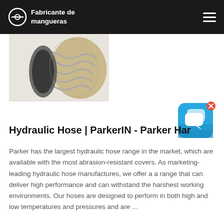Fabricante de mangueras
[Figure (photo): Photograph of a flexible hydraulic hose with metal wire coil reinforcement, beige/tan fabric exterior, showing the open end revealing the interior lining.]
[Figure (other): Chat/messaging app icon — blue rounded square with two white speech bubble icons overlapping, with a small X close button in the top-right corner.]
Hydraulic Hose | ParkerIN - Parker Har
Parker has the largest hydraulic hose range in the market, which are available with the most abrasion-resistant covers. As marketing-leading hydraulic hose manufactures, we offer a a range that can deliver high performance and can withstand the harshest working environments. Our hoses are designed to perform in both high and low temperatures and pressures and are ...